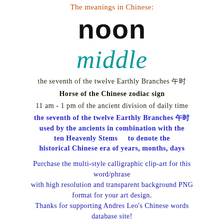The meanings in Chinese:
noon
middle
the seventh of the twelve Earthly Branches 🐎
Horse of the Chinese zodiac sign
11 am - 1 pm of the ancient division of daily time
the seventh of the twelve Earthly Branches 🐎 used by the ancients in combination with the ten Heavenly Stems    to denote the historical Chinese era of years, months, days
Purchase the multi-style calligraphic clip-art for this word/phrase with high resolution and transparent background PNG format for your art design. Thanks for supporting Andres Leo's Chinese words database site!